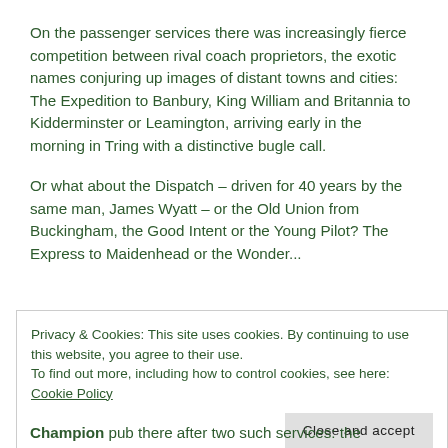On the passenger services there was increasingly fierce competition between rival coach proprietors, the exotic names conjuring up images of distant towns and cities: The Expedition to Banbury, King William and Britannia to Kidderminster or Leamington, arriving early in the morning in Tring with a distinctive bugle call.
Or what about the Dispatch – driven for 40 years by the same man, James Wyatt – or the Old Union from Buckingham, the Good Intent or the Young Pilot? The Express to Maidenhead or the Wonder...
Privacy & Cookies: This site uses cookies. By continuing to use this website, you agree to their use.
To find out more, including how to control cookies, see here: Cookie Policy
Champion pub there after two such services: the